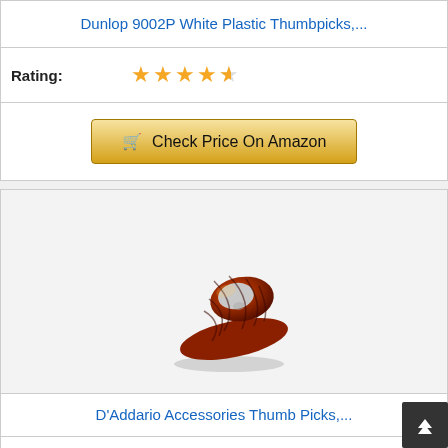Dunlop 9002P White Plastic Thumbpicks,...
Rating: ★★★★½
Check Price On Amazon
[Figure (photo): A tortoise-shell patterned thumb guitar pick photographed on a light gray background with a subtle shadow beneath it.]
D'Addario Accessories Thumb Picks,...
Rating: ★★★★½